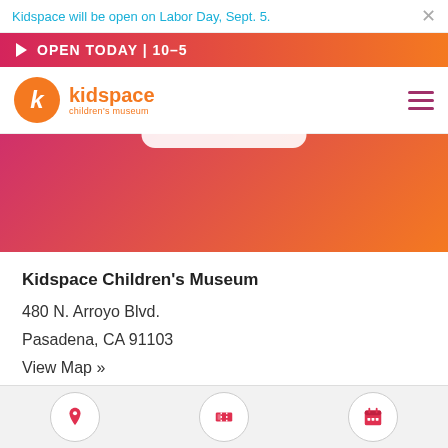Kidspace will be open on Labor Day, Sept. 5.
OPEN TODAY | 10–5
[Figure (logo): Kidspace Children's Museum logo - orange circle with k, orange text]
[Figure (illustration): Pink to orange gradient hero banner with white pill shape at top]
Kidspace Children's Museum
480 N. Arroyo Blvd.
Pasadena, CA 91103
View Map »
(626) 449-9144
Location | Tickets | Calendar icons